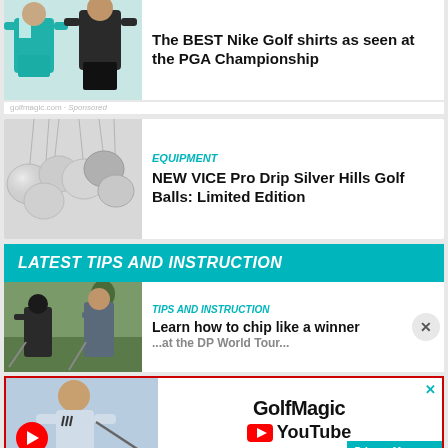[Figure (photo): Two people wearing Nike Golf shirts (teal/white and black)]
The BEST Nike Golf shirts as seen at the PGA Championship
[Figure (photo): Multiple silver/grey golf balls hanging on strings]
EQUIPMENT
NEW VICE Pro Drip Silver Hills Golf Balls: Limited Edition
LATEST TIPS AND INSTRUCTION
[Figure (photo): Two golfers chipping on a golf course]
TIPS AND INSTRUCTION
Learn how to chip like a winner at the DP World Tour...
[Figure (screenshot): GolfMagic YouTube advertisement with golfer and YouTube logo]